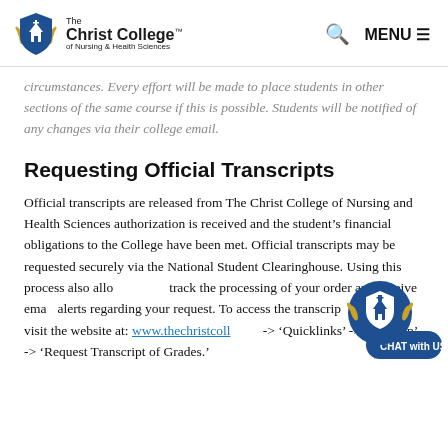The Christ College of Nursing & Health Sciences — MENU
circumstances. Every effort will be made to place students in other sections of the same course if this is possible. Students will be notified of any changes via their college email.
Requesting Official Transcripts
Official transcripts are released from The Christ College of Nursing and Health Sciences authorization is received and the student's financial obligations to the College have been met. Official transcripts may be requested securely via the National Student Clearinghouse. Using this process also allows you to track the processing of your order and receive email alerts regarding your request. To access the transcript page please visit the website at: www.thechristcollege... -> 'Quicklinks' -> 'Onestop' -> 'Request Transcript of Grades.'